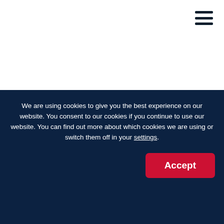[Figure (other): Hamburger menu icon (three horizontal dark lines) in top-right corner]
How has the research gone since winning the Prize?
We are using cookies to give you the best experience on our website. You consent to our cookies if you continue to use our website. You can find out more about which cookies we are using or switch them off in your settings.
Accept